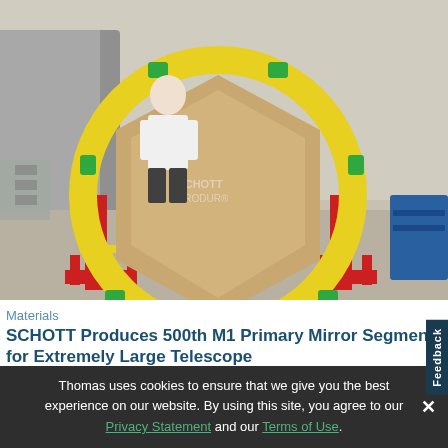[Figure (photo): A large hexagonal telescope mirror segment mounted in a yellow circular ring frame on red metal stands, with a person in white shirt standing behind it in an industrial facility.]
Materials
SCHOTT Produces 500th M1 Primary Mirror Segment for Extremely Large Telescope
[Figure (photo): A partially visible photo of telescope mirror or optical component with blue/grey background, appearing to show a reflective square or rectangular piece.]
Thomas uses cookies to ensure that we give you the best experience on our website. By using this site, you agree to our Privacy Statement and our Terms of Use.